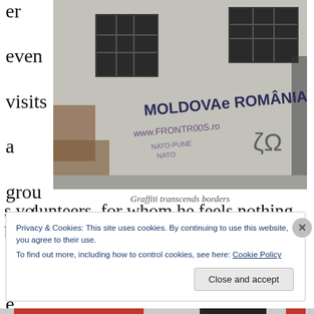er even visits a group of Peace Corps volunteers, for whom he feels nothing but pity.
[Figure (photo): Photograph of a building exterior with graffiti reading 'MOLDOVA e ROMÂNIA' and 'www.FRONTROOTS.ro NATO-PUNE NATO']
Graffiti transcends borders
Privacy & Cookies: This site uses cookies. By continuing to use this website, you agree to their use. To find out more, including how to control cookies, see here: Cookie Policy